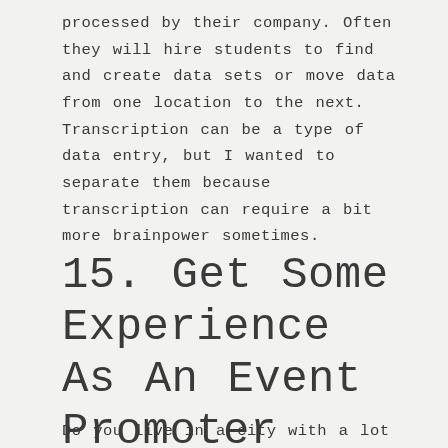processed by their company. Often they will hire students to find and create data sets or move data from one location to the next. Transcription can be a type of data entry, but I wanted to separate them because transcription can require a bit more brainpower sometimes.
15. Get Some Experience As An Event Promoter
Do you live in a city with a lot of